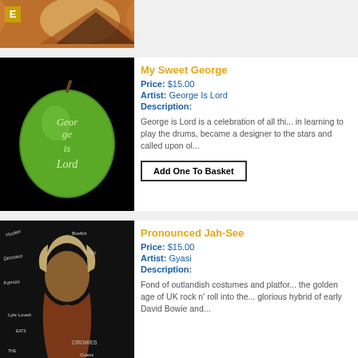[Figure (photo): Top portion of an album or product image showing a tent/camping scene with warm orange tones, partially cropped]
[Figure (photo): Album cover for 'My Sweet George' by George Is Lord - green apple with 'George is Lord' carved/written in white on black background]
My Sweet George
Price: $15.00
Artist: George Is Lord
Description:
George is Lord is a celebration of all things... in learning to play the drums, became a... designer to the stars and called upon ol...
[Figure (photo): Album cover for 'Pronounced Jah-See' by Gyasi - person with long hair against dark background with band names written around them]
Pronounced Jah-See
Price: $15.00
Artist: Gyasi
Description:
Fond of outlandish costumes and platfor... the golden age of UK rock n' roll into the... glorious hybrid of early David Bowie and...